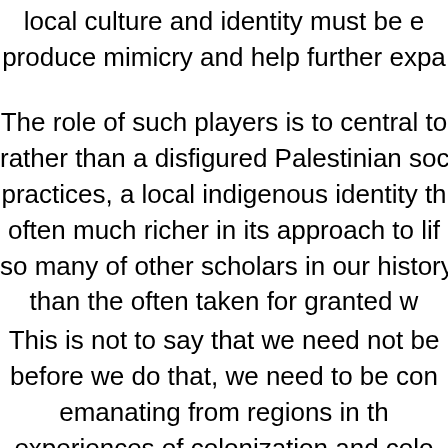local culture and identity must be e produce mimicry and help further expa
The role of such players is to central to rather than a disfigured Palestinian soc practices, a local indigenous identity th often much richer in its approach to lif so many of other scholars in our history than the often taken for granted w
This is not to say that we need not be before we do that, we need to be con emanating from regions in th experiences of colonization and colo